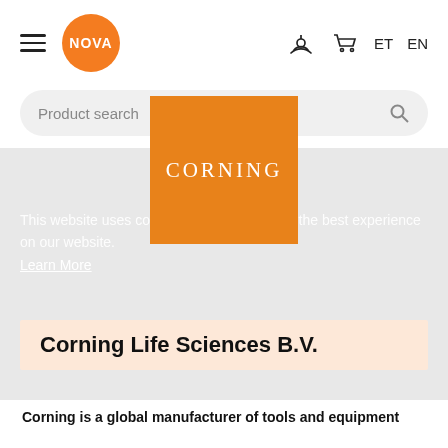NOVA (logo) | antenna icon | cart icon | ET | EN
Product search
[Figure (logo): Corning orange square logo with the word CORNING in white serif letters]
This website uses cookies to ensure you get the best experience on our website. Learn More
Corning Life Sciences B.V.
Corning is a global manufacturer of tools and equipment